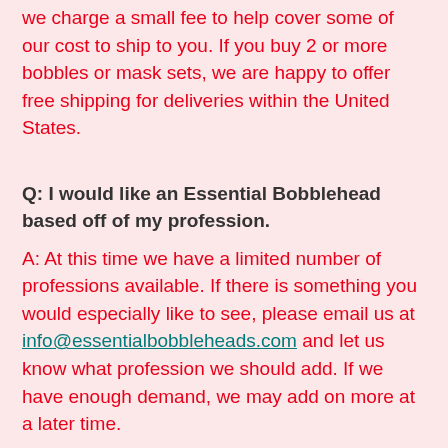we charge a small fee to help cover some of our cost to ship to you.  If you buy 2 or more bobbles or mask sets, we are happy to offer free shipping for deliveries within the United States.
Q:  I would like an Essential Bobblehead based off of my profession.
A:  At this time we have a limited number of professions available.  If there is something you would especially like to see, please email us at info@essentialbobbleheads.com and let us know what profession we should add. If we have enough demand, we may add on more at a later time.